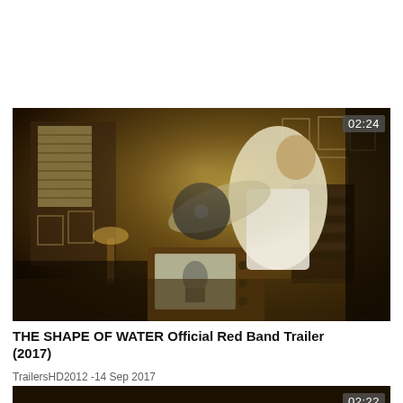[Figure (screenshot): Video thumbnail for 'THE SHAPE OF WATER Official Red Band Trailer (2017)'. Shows a dimly lit vintage room scene with a man in a white vest/jacket in motion, holding a record. A retro television is visible in the background displaying a black and white image. Framed pictures hang on the walls. Duration badge shows 02:24 in top right corner.]
THE SHAPE OF WATER Official Red Band Trailer (2017)
TrailersHD2012 -14 Sep 2017
[Figure (screenshot): Partial video thumbnail at the bottom. Dark scene, duration badge shows 02:22 in top right corner.]